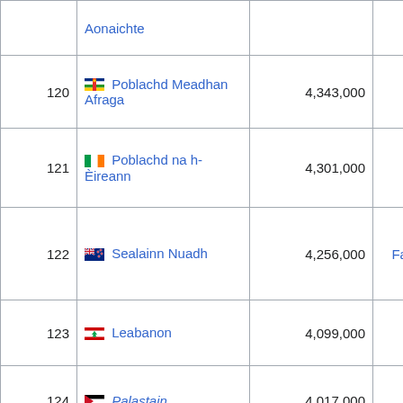| Rank | Country | Population | Note |
| --- | --- | --- | --- |
|  | Aonaichte |  |  |
| 120 | Poblachd Meadhan Afraga | 4,343,000 |  |
| 121 | Poblachd na h-Èireann | 4,301,000 |  |
| 122 | Sealainn Nuadh | 4,256,000 | 24 am Faoilleach, 2008 |
| 123 | Leabanon | 4,099,000 |  |
| 124 | Palastain | 4,017,000 |  |
| 125 | Puerto Rico | 3,991,000 |  |
|  |  |  |  |